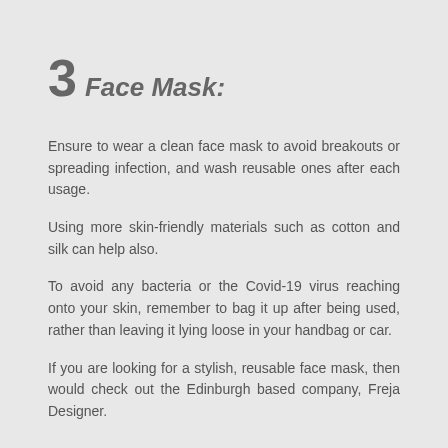3  Face Mask:
Ensure to wear a clean face mask to avoid breakouts or spreading infection, and wash reusable ones after each usage.
Using more skin-friendly materials such as cotton and silk can help also.
To avoid any bacteria or the Covid-19 virus reaching onto your skin, remember to bag it up after being used, rather than leaving it lying loose in your handbag or car.
If you are looking for a stylish, reusable face mask, then would check out the Edinburgh based company, Freja Designer.